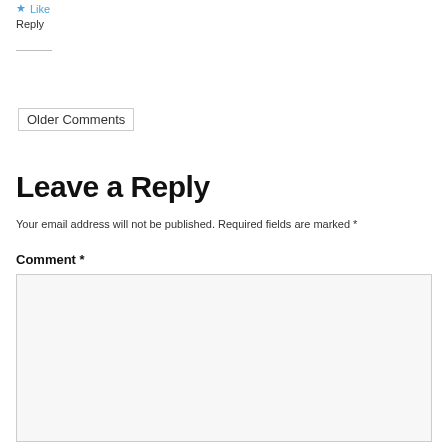★ Like
Reply
Older Comments
Leave a Reply
Your email address will not be published. Required fields are marked *
Comment *
[Figure (other): Empty comment text area input box]